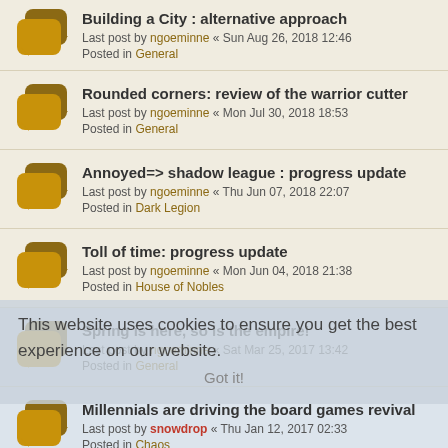Building a City : alternative approach
Last post by ngoeminne « Sun Aug 26, 2018 12:46
Posted in General
Rounded corners: review of the warrior cutter
Last post by ngoeminne « Mon Jul 30, 2018 18:53
Posted in General
Annoyed=> shadow league : progress update
Last post by ngoeminne « Thu Jun 07, 2018 22:07
Posted in Dark Legion
Toll of time: progress update
Last post by ngoeminne « Mon Jun 04, 2018 21:38
Posted in House of Nobles
Spring is here, so is the empire!
Last post by ngoeminne « Sat Mar 25, 2017 13:42
Posted in General
Millennials are driving the board games revival
Last post by snowdrop « Thu Jan 12, 2017 02:33
Posted in Chaos
Online ARC Playtest round: many new firsts
Last post by ngoeminne « Thu Nov 24, 2016 09:47
Posted in General
This website uses cookies to ensure you get the best experience on our website.
Got it!